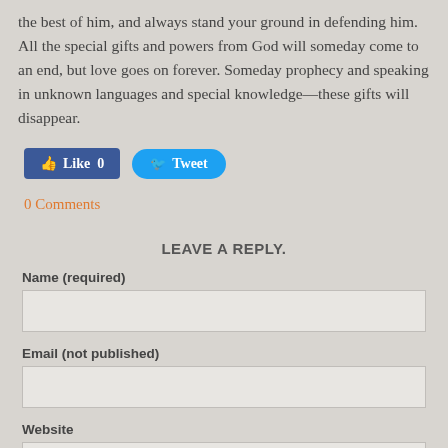the best of him, and always stand your ground in defending him. All the special gifts and powers from God will someday come to an end, but love goes on forever. Someday prophecy and speaking in unknown languages and special knowledge—these gifts will disappear.
[Figure (screenshot): Facebook Like button showing count 0 and Twitter Tweet button]
0 Comments
LEAVE A REPLY.
Name (required)
[Figure (screenshot): Text input field for Name]
Email (not published)
[Figure (screenshot): Text input field for Email]
Website
[Figure (screenshot): Text input field for Website]
Comments (required)